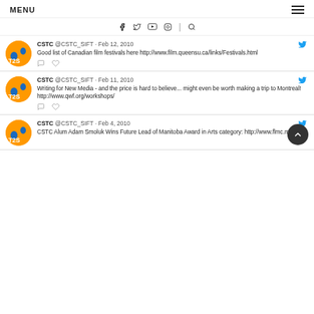MENU
Social media icons bar: f (Facebook), Twitter, YouTube, Instagram, search
CSTC @CSTC_SIFT · Feb 12, 2010
Good list of Canadian film festivals here http://www.film.queensu.ca/links/Festivals.html
CSTC @CSTC_SIFT · Feb 11, 2010
Writing for New Media - and the price is hard to believe... might even be worth making a trip to Montreal! http://www.qwf.org/workshops/
CSTC @CSTC_SIFT · Feb 4, 2010
CSTC Alum Adam Smoluk Wins Future Lead of Manitoba Award in Arts category: http://www.flmc.mb.ca/